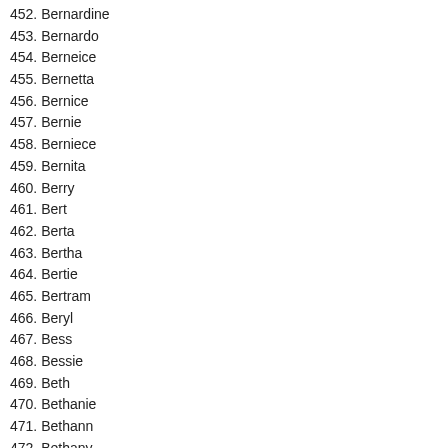452. Bernardine
453. Bernardo
454. Berneice
455. Bernetta
456. Bernice
457. Bernie
458. Berniece
459. Bernita
460. Berry
461. Bert
462. Berta
463. Bertha
464. Bertie
465. Bertram
466. Beryl
467. Bess
468. Bessie
469. Beth
470. Bethanie
471. Bethann
472. Bethany
473. Bethel
474. Betsey
475. Betsy
476. Bette
477. Bette...